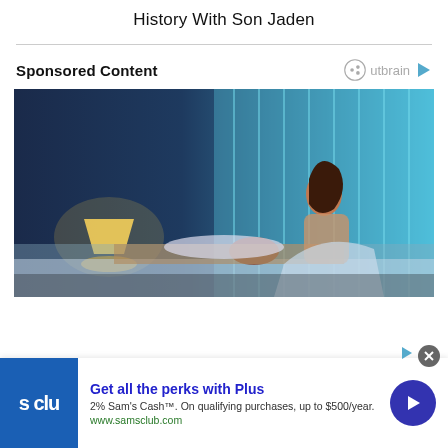History With Son Jaden
Sponsored Content
[Figure (photo): A couple in bed at night. A woman sits up looking toward the ceiling while a man lies asleep. The room is lit by a warm bedside lamp on the left and blue light from window blinds on the right.]
[Figure (screenshot): Advertisement banner for Sam's Club Plus membership. Logo shows 's clu' text in white on blue background. Headline: 'Get all the perks with Plus'. Subtext: '2% Sam's Cash™. On qualifying purchases, up to $500/year.' URL: www.samsclub.com. Navigation arrow button on right.]